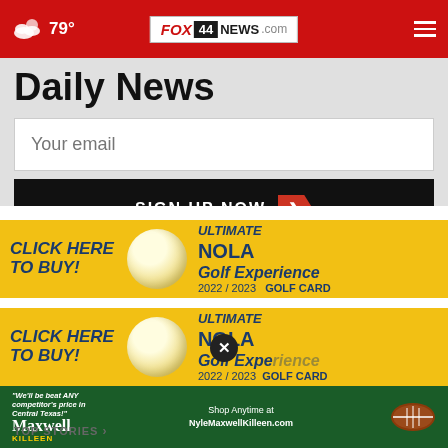79° FOX 44 NEWS.com
Daily News
Your email
SIGN UP NOW
[Figure (screenshot): Advertisement banner: CLICK HERE TO BUY! Ultimate NOLA Golf Experience 2022/2023 GOLF CARD]
[Figure (screenshot): Advertisement banner (second): CLICK HERE TO BUY! Ultimate NOLA Golf Experience 2022/2023 GOLF CARD with close button overlay]
[Figure (screenshot): Maxwell Killeen advertisement: We'll be beat ANY competitor's price in Central Texas! Shop Anytime at NyleMaxwellKilleen.com]
TOP STORIES ›